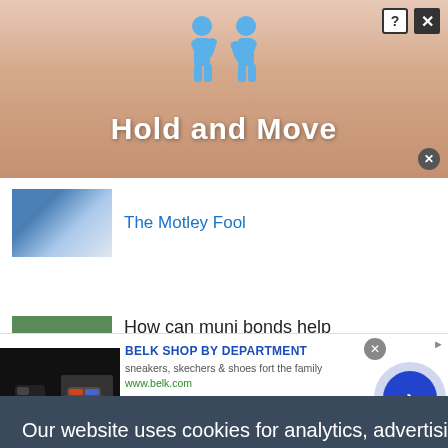[Figure (screenshot): Advertisement banner with blue figures holding hands, text 'Hold and Move' on a peach/coral striped background, with close and question mark buttons]
The Motley Fool
How can muni bonds help during periods of high
Our website uses cookies for analytics, advertising and to improve our site. By using our site you agree to our use of cookies. To find out more, including how to change your settings, see our Cookie Policy  Learn More
[Figure (screenshot): Belk advertisement showing shoes (sneakers, skechers) with text 'BELK SHOP BY DEPARTMENT', 'sneakers, skechers & shoes fort the family', 'www.belk.com', and a navigation arrow button]